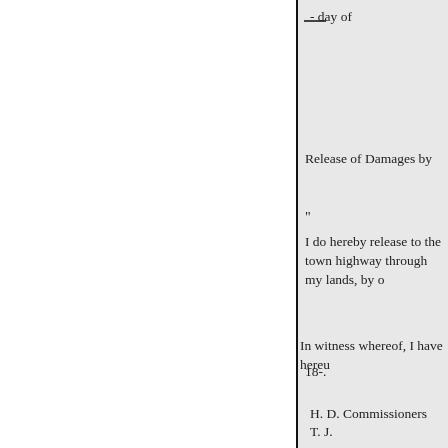- day of
Release of Damages by
"
I do hereby release to the town highway through my lands, by o
In witness whereof, I have hereu
18-.
H. D. Commissioners
T. J.